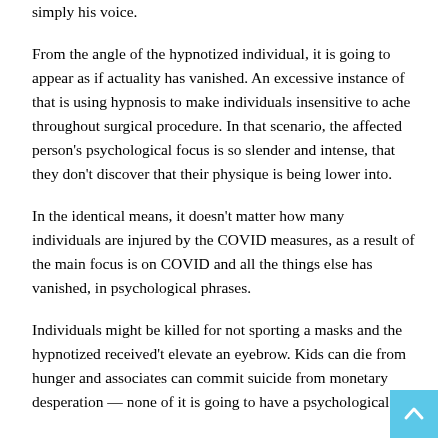simply his voice.
From the angle of the hypnotized individual, it is going to appear as if actuality has vanished. An excessive instance of that is using hypnosis to make individuals insensitive to ache throughout surgical procedure. In that scenario, the affected person's psychological focus is so slender and intense, that they don't discover that their physique is being lower into.
In the identical means, it doesn't matter how many individuals are injured by the COVID measures, as a result of the main focus is on COVID and all the things else has vanished, in psychological phrases.
Individuals might be killed for not sporting a masks and the hypnotized received't elevate an eyebrow. Kids can die from hunger and associates can commit suicide from monetary desperation — none of it is going to have a psychological